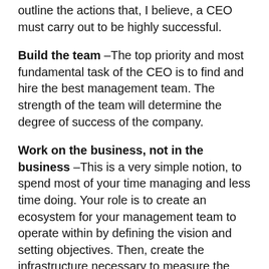outline the actions that, I believe, a CEO must carry out to be highly successful.
Build the team –The top priority and most fundamental task of the CEO is to find and hire the best management team. The strength of the team will determine the degree of success of the company.
Work on the business, not in the business –This is a very simple notion, to spend most of your time managing and less time doing. Your role is to create an ecosystem for your management team to operate within by defining the vision and setting objectives. Then, create the infrastructure necessary to measure the team's performance in meeting these goals.